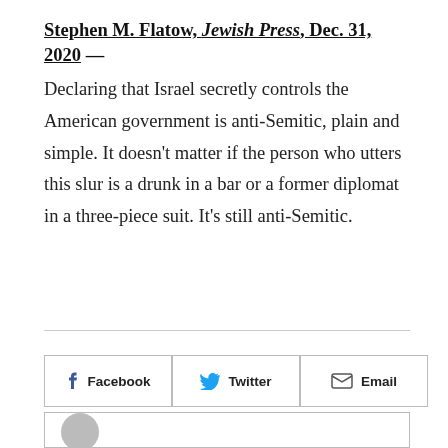Stephen M. Flatow, Jewish Press, Dec. 31, 2020 — Declaring that Israel secretly controls the American government is anti-Semitic, plain and simple. It doesn't matter if the person who utters this slur is a drunk in a bar or a former diplomat in a three-piece suit. It's still anti-Semitic.
[Figure (other): Social sharing buttons: Facebook, Twitter, Email]
[Figure (other): Author avatar placeholder box at bottom of page]